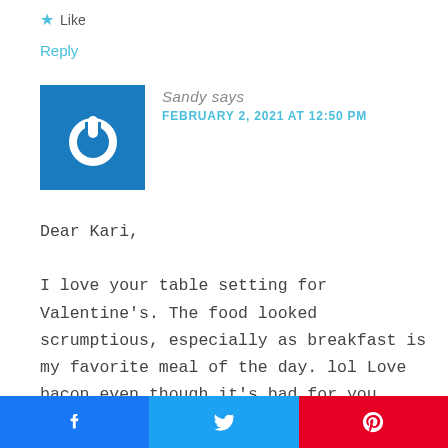★ Like
Reply
[Figure (logo): Blue square avatar with white power button icon]
Sandy says
FEBRUARY 2, 2021 AT 12:50 PM
Dear Kari,

I love your table setting for Valentine's. The food looked scrumptious, especially as breakfast is my favorite meal of the day. lol Love bacon even though it's bad for you. This reminds me of my grandmother's settings for special holidays. She
[Figure (infographic): Social share bar with Facebook, Twitter, and Pinterest buttons]